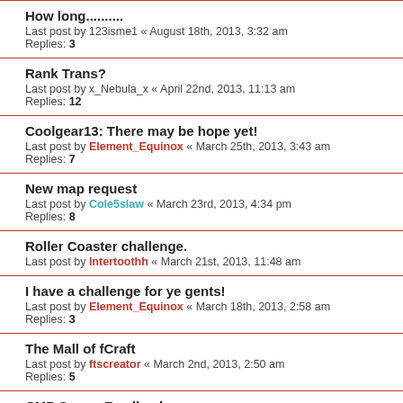How long.......... - Last post by 123isme1 « August 18th, 2013, 3:32 am - Replies: 3
Rank Trans? - Last post by x_Nebula_x « April 22nd, 2013, 11:13 am - Replies: 12
Coolgear13: There may be hope yet! - Last post by Element_Equinox « March 25th, 2013, 3:43 am - Replies: 7
New map request - Last post by Cole5slaw « March 23rd, 2013, 4:34 pm - Replies: 8
Roller Coaster challenge. - Last post by Intertoothh « March 21st, 2013, 11:48 am
I have a challenge for ye gents! - Last post by Element_Equinox « March 18th, 2013, 2:58 am - Replies: 3
The Mall of fCraft - Last post by ftscreator « March 2nd, 2013, 2:50 am - Replies: 5
CMP Server Feedback - Last post by x_Nebula_x « February 27th, 2013, 12:55 pm - Replies: 44
Redstone Printer - Last post by x_Nebula_x « February 8th, 2013, 10:06 pm - Replies: 7
Port